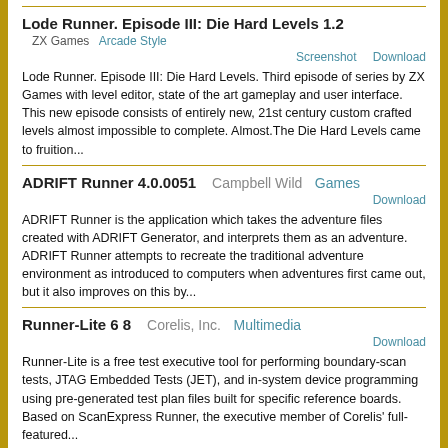Lode Runner. Episode III: Die Hard Levels 1.2
ZX Games  Arcade Style
Screenshot  Download
Lode Runner. Episode III: Die Hard Levels. Third episode of series by ZX Games with level editor, state of the art gameplay and user interface. This new episode consists of entirely new, 21st century custom crafted levels almost impossible to complete. Almost.The Die Hard Levels came to fruition...
ADRIFT Runner 4.0.0051  Campbell Wild  Games
Download
ADRIFT Runner is the application which takes the adventure files created with ADRIFT Generator, and interprets them as an adventure. ADRIFT Runner attempts to recreate the traditional adventure environment as introduced to computers when adventures first came out, but it also improves on this by...
Runner-Lite 6 8  Corelis, Inc.  Multimedia
Download
Runner-Lite is a free test executive tool for performing boundary-scan tests, JTAG Embedded Tests (JET), and in-system device programming using pre-generated test plan files built for specific reference boards. Based on ScanExpress Runner, the executive member of Corelis' full-featured...
Alias Runner Apocalypse 2.0  ePlaybus.com
Sports
Screenshot  Download